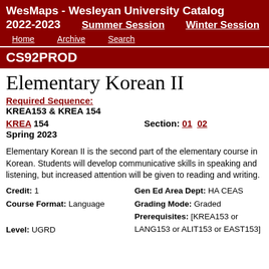WesMaps - Wesleyan University Catalog 2022-2023   Summer Session   Winter Session   Home   Archive   Search
CS92PROD
Elementary Korean II
Required Sequence:
KREA153 & KREA 154
KREA 154   Section: 01  02
Spring 2023
Elementary Korean II is the second part of the elementary course in Korean. Students will develop communicative skills in speaking and listening, but increased attention will be given to reading and writing.
Credit: 1
Course Format: Language
Level: UGRD
Gen Ed Area Dept: HA CEAS
Grading Mode: Graded
Prerequisites: [KREA153 or LANG153 or ALIT153 or EAST153]